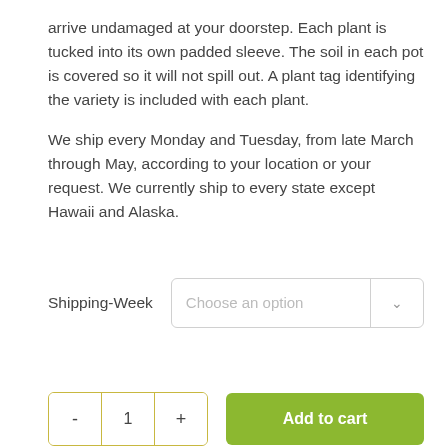arrive undamaged at your doorstep. Each plant is tucked into its own padded sleeve. The soil in each pot is covered so it will not spill out. A plant tag identifying the variety is included with each plant.
We ship every Monday and Tuesday, from late March through May, according to your location or your request. We currently ship to every state except Hawaii and Alaska.
Shipping-Week   Choose an option
- 1 +   Add to cart